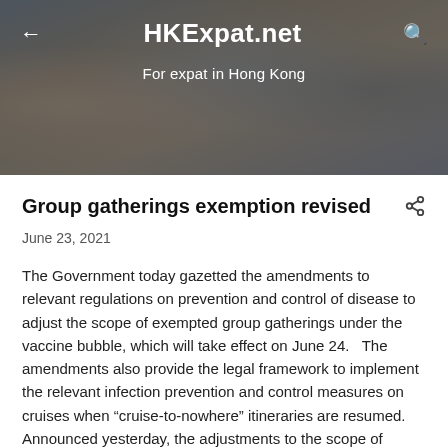[Figure (photo): Header banner of HKExpat.net website showing a group of people in the background with navigation bar showing back arrow, site title HKExpat.net, and search icon]
HKExpat.net
For expat in Hong Kong
Group gatherings exemption revised
June 23, 2021
The Government today gazetted the amendments to relevant regulations on prevention and control of disease to adjust the scope of exempted group gatherings under the vaccine bubble, which will take effect on June 24.   The amendments also provide the legal framework to implement the relevant infection prevention and control measures on cruises when "cruise-to-nowhere" itineraries are resumed.
Announced yesterday, the adjustments to the scope of exempted group gatherings under the Prevention & Control of Disease (Prohibition on Group Gathering) Regulation have